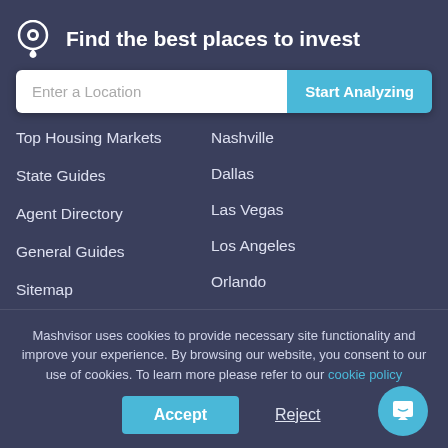Find the best places to invest
Enter a Location
Start Analyzing
Top Housing Markets
State Guides
Agent Directory
General Guides
Sitemap
Nashville
Dallas
Las Vegas
Los Angeles
Orlando
Atlanta
Mashvisor uses cookies to provide necessary site functionality and improve your experience. By browsing our website, you consent to our use of cookies. To learn more please refer to our cookie policy
Accept
Reject